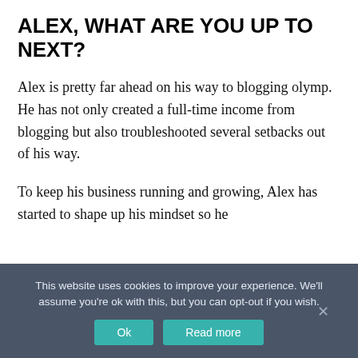ALEX, WHAT ARE YOU UP TO NEXT?
Alex is pretty far ahead on his way to blogging olymp. He has not only created a full-time income from blogging but also troubleshooted several setbacks out of his way.
To keep his business running and growing, Alex has started to shape up his mindset so he
This website uses cookies to improve your experience. We'll assume you're ok with this, but you can opt-out if you wish. Ok  Read more